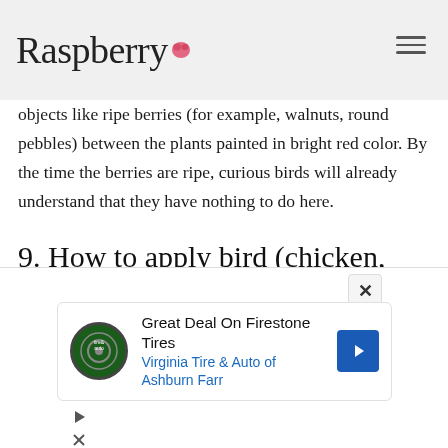Raspberry
objects like ripe berries (for example, walnuts, round pebbles) between the plants painted in bright red color. By the time the berries are ripe, curious birds will already understand that they have nothing to do here.
9. How to apply bird (chicken, pigeon) droppings?
[Figure (photo): Bowl containing bird droppings/fertilizer material, dark brown organic matter with small round pellets visible]
[Figure (infographic): Advertisement banner: Great Deal On Firestone Tires - Virginia Tire & Auto of Ashburn Farr]